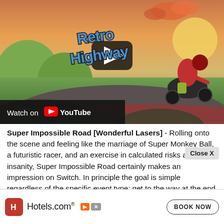[Figure (screenshot): YouTube video thumbnail for 'Retro Highway' game showing a motorcyclist on a scenic road with stylized cartoon graphics. A play button is centered. Below is a dark 'Watch on YouTube' bar.]
Super Impossible Road [Wonderful Lasers] - Rolling onto the scene and feeling like the marriage of Super Monkey Ball, a futuristic racer, and an exercise in calculated risks and insanity, Super Impossible Road certainly makes an impression on Switch. In principle the goal is simple regardless of the specific event type: get to the way at the end of t… s by trying yo… g your
[Figure (screenshot): Hotels.com advertisement banner with red H logo, 'Hotels.com' text, and 'BOOK NOW' button. Close X button visible at top right.]